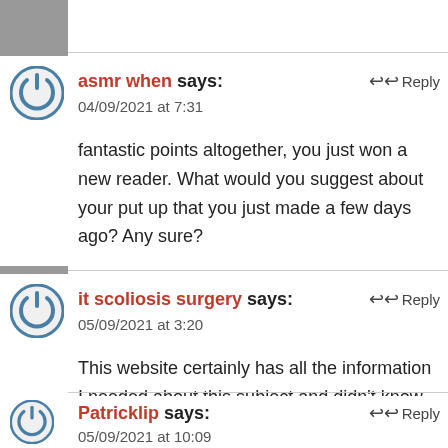asmr when says: 04/09/2021 at 7:31 — Reply
fantastic points altogether, you just won a new reader. What would you suggest about your put up that you just made a few days ago? Any sure?
it scoliosis surgery says: 05/09/2021 at 3:20 — Reply
This website certainly has all the information I needed about this subject and didn't know who to ask.
Patricklip says: 05/09/2021 at 10:09 — Reply